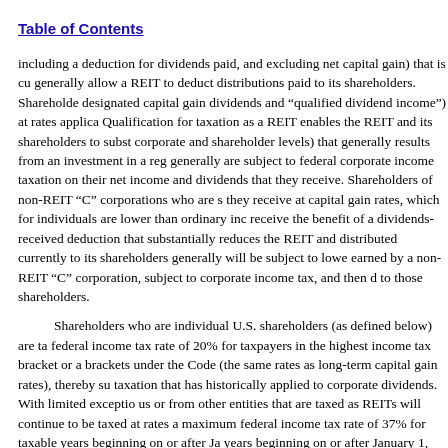Table of Contents
including a deduction for dividends paid, and excluding net capital gain) that is currently generally allow a REIT to deduct distributions paid to its shareholders. Shareholders designated capital gain dividends and “qualified dividend income”) at rates applicable Qualification for taxation as a REIT enables the REIT and its shareholders to substantially corporate and shareholder levels) that generally results from an investment in a regular generally are subject to federal corporate income taxation on their net income and dividends that they receive. Shareholders of non-REIT “C” corporations who are subject they receive at capital gain rates, which for individuals are lower than ordinary income receive the benefit of a dividends-received deduction that substantially reduces the REIT and distributed currently to its shareholders generally will be subject to lower earned by a non-REIT “C” corporation, subject to corporate income tax, and then distributed to those shareholders.
Shareholders who are individual U.S. shareholders (as defined below) are taxed at a federal income tax rate of 20% for taxpayers in the highest income tax bracket or applicable brackets under the Code (the same rates as long-term capital gain rates), thereby subjecting taxation that has historically applied to corporate dividends. With limited exceptions, us or from other entities that are taxed as REITs will continue to be taxed at rates applicable maximum federal income tax rate of 37% for taxable years beginning on or after January years beginning on or after January 1, 2018 through December 31, 2025, individuals other entities that are taxed as REITs (excluding qualified dividend income and capital gains) marginal tax bracket of 37%, the deduction for REIT dividends yields an effective
Even if we qualify as a REIT, however, we will be subject to federal income